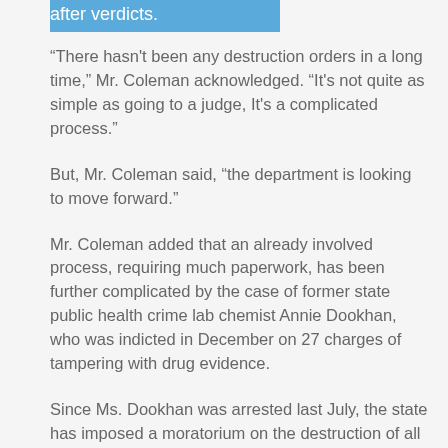after verdicts.
“There hasn't been any destruction orders in a long time,” Mr. Coleman acknowledged. “It's not quite as simple as going to a judge, It's a complicated process.”
But, Mr. Coleman said, “the department is looking to move forward.”
Mr. Coleman added that an already involved process, requiring much paperwork, has been further complicated by the case of former state public health crime lab chemist Annie Dookhan, who was indicted in December on 27 charges of tampering with drug evidence.
Since Ms. Dookhan was arrested last July, the state has imposed a moratorium on the destruction of all drug evidence held by local police departments and the state